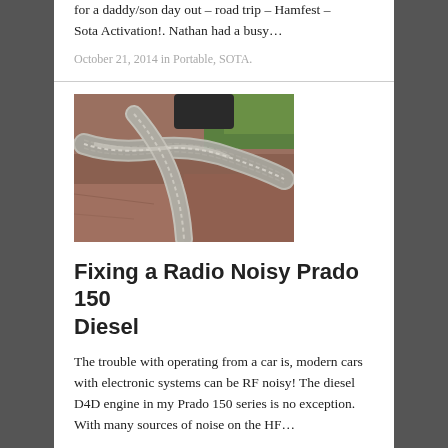for a daddy/son day out – road trip – Hamfest – Sota Activation!. Nathan had a busy…
October 21, 2014 in Portable, SOTA.
[Figure (photo): Close-up photo of braided metallic grounding strap or shielding braid coiled on a reddish stone surface, with green grass visible in background]
Fixing a Radio Noisy Prado 150 Diesel
The trouble with operating from a car is, modern cars with electronic systems can be RF noisy! The diesel D4D engine in my Prado 150 series is no exception. With many sources of noise on the HF…